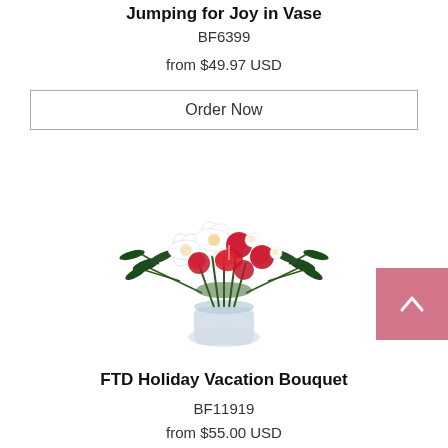Jumping for Joy in Vase
BF6399
from $49.97 USD
Order Now
[Figure (photo): Holiday flower bouquet in a glass vase with red carnations, white lilies, red anthurium, and greenery/pine sprigs]
FTD Holiday Vacation Bouquet
BF11919
from $55.00 USD